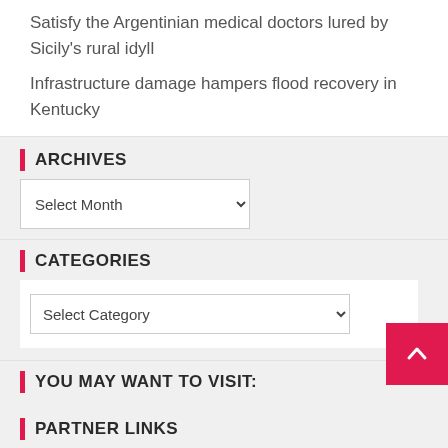Satisfy the Argentinian medical doctors lured by Sicily's rural idyll
Infrastructure damage hampers flood recovery in Kentucky
ARCHIVES
Select Month
CATEGORIES
Select Category
YOU MAY WANT TO VISIT:
visualizing your business
PARTNER LINKS